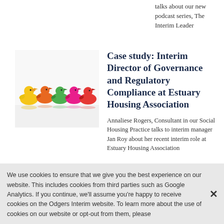talks about our new podcast series, The Interim Leader
[Figure (photo): Colorful plastic duck toys in yellow, orange, green, pink, red and other colors arranged in a row on a white surface]
Case study: Interim Director of Governance and Regulatory Compliance at Estuary Housing Association
Annaliese Rogers, Consultant in our Social Housing Practice talks to interim manager Jan Roy about her recent interim role at Estuary Housing Association
[Figure (photo): Partial image showing a blue-grey gradient or background, cropped at bottom of page]
Case study: Interim Chief
We use cookies to ensure that we give you the best experience on our website. This includes cookies from third parties such as Google Analytics. If you continue, we'll assume you're happy to receive cookies on the Odgers Interim website. To learn more about the use of cookies on our website or opt-out from them, please